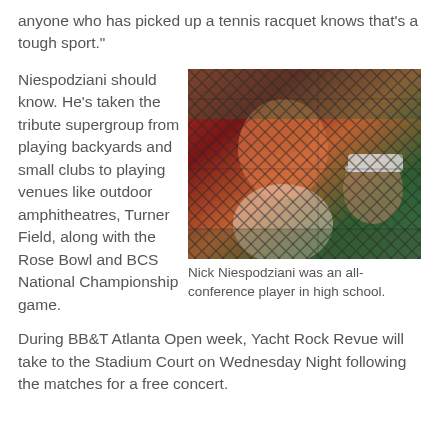anyone who has picked up a tennis racquet knows that's a tough sport."
Niespodziani should know. He's taken the tribute supergroup from playing backyards and small clubs to playing venues like outdoor amphitheatres, Turner Field, along with the Rose Bowl and BCS National Championship game.
[Figure (photo): Photo of Nick Niespodziani looking through a chain-link fence at a tennis court, with another person in a white cap visible to the right.]
Nick Niespodziani was an all-conference player in high school.
During BB&T Atlanta Open week, Yacht Rock Revue will take to the Stadium Court on Wednesday Night following the matches for a free concert.